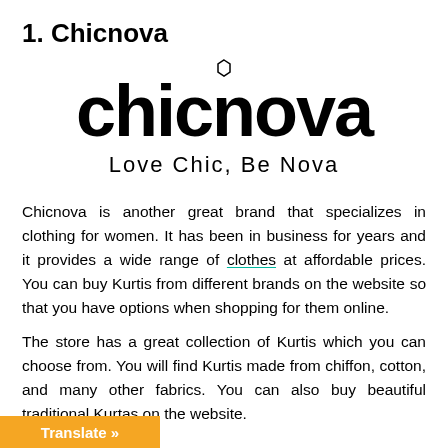1. Chicnova
[Figure (logo): Chicnova brand logo — large stylized 'chicnova' text in bold black with a small hexagon above the 'i', and tagline 'Love Chic, Be Nova' in lighter weight below]
Chicnova is another great brand that specializes in clothing for women. It has been in business for years and it provides a wide range of clothes at affordable prices. You can buy Kurtis from different brands on the website so that you have options when shopping for them online.
The store has a great collection of Kurtis which you can choose from. You will find Kurtis made from chiffon, cotton, and many other fabrics. You can also buy beautiful traditional Kurtas on the website.
Translate »